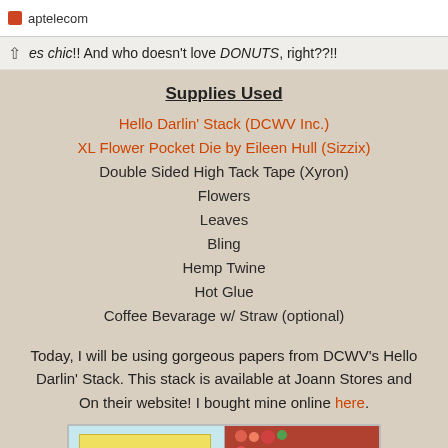aptelecom
es chic!! And who doesn't love DONUTS, right??!!
Supplies Used
Hello Darlin' Stack (DCWV Inc.)
XL Flower Pocket Die by Eileen Hull (Sizzix)
Double Sided High Tack Tape (Xyron)
Flowers
Leaves
Bling
Hemp Twine
Hot Glue
Coffee Bevarage w/ Straw (optional)
Today, I will be using gorgeous papers from DCWV's Hello Darlin' Stack. This stack is available at Joann Stores and On their website! I bought mine online here.
[Figure (photo): Photo showing crafting supplies and paper stack items, split into two panels - left shows yellow patterned paper, right shows red/pink flowers and materials]